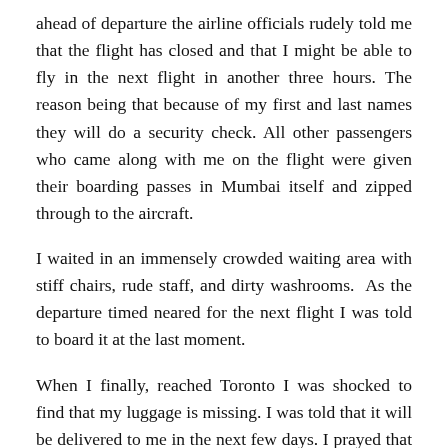ahead of departure the airline officials rudely told me that the flight has closed and that I might be able to fly in the next flight in another three hours. The reason being that because of my first and last names they will do a security check. All other passengers who came along with me on the flight were given their boarding passes in Mumbai itself and zipped through to the aircraft.
I waited in an immensely crowded waiting area with stiff chairs, rude staff, and dirty washrooms. As the departure timed neared for the next flight I was told to board it at the last moment.
When I finally, reached Toronto I was shocked to find that my luggage is missing. I was told that it will be delivered to me in the next few days. I prayed that it reaches me as it contained several research documents,